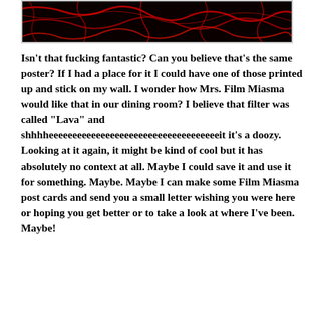[Figure (illustration): Dark image with black background and red/orange vein-like or lava patterns across it, shown in a bordered box at the top of the page.]
Isn't that fucking fantastic? Can you believe that's the same poster? If I had a place for it I could have one of those printed up and stick on my wall. I wonder how Mrs. Film Miasma would like that in our dining room? I believe that filter was called “Lava” and shhhheeeeeeeeeeeeeeeeeeeeeeeeeeeeeeeeeeeeit it’s a doozy. Looking at it again, it might be kind of cool but it has absolutely no context at all. Maybe I could save it and use it for something. Maybe. Maybe I can make some Film Miasma post cards and send you a small letter wishing you were here or hoping you get better or to take a look at where I’ve been. Maybe!